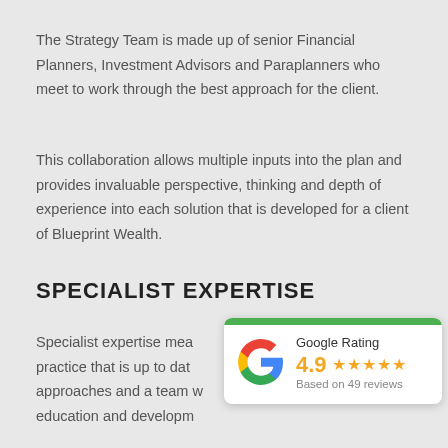The Strategy Team is made up of senior Financial Planners, Investment Advisors and Paraplanners who meet to work through the best approach for the client.
This collaboration allows multiple inputs into the plan and provides invaluable perspective, thinking and depth of experience into each solution that is developed for a client of Blueprint Wealth.
SPECIALIST EXPERTISE
Specialist expertise mea... practice that is up to dat... approaches and a team w... education and developm...
[Figure (infographic): Google Rating widget showing 4.9 stars based on 49 reviews, with green top bar and Google 'G' logo]